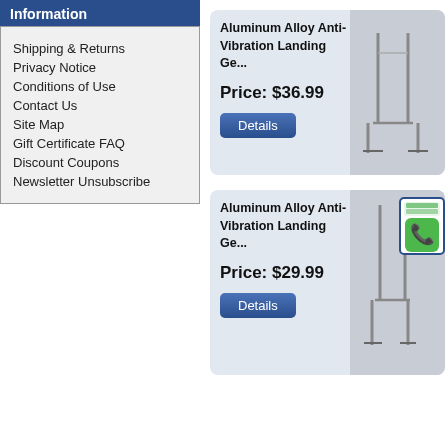Information
Shipping & Returns
Privacy Notice
Conditions of Use
Contact Us
Site Map
Gift Certificate FAQ
Discount Coupons
Newsletter Unsubscribe
Aluminum Alloy Anti-Vibration Landing Ge...
Price: $36.99
[Figure (photo): Aluminum alloy landing gear product image]
Aluminum Alloy Anti-Vibration Landing Ge...
Price: $29.99
[Figure (photo): Aluminum alloy landing gear product image with phone overlay icon]